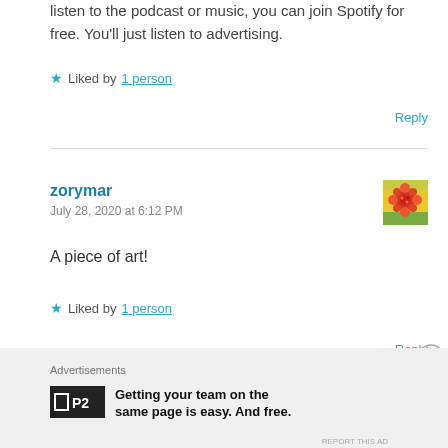listen to the podcast or music, you can join Spotify for free. You'll just listen to advertising.
★ Liked by 1 person
Reply
zorymar
July 28, 2020 at 6:12 PM
[Figure (illustration): Small avatar image of a flower - yellow and red bloom on green background]
A piece of art!
★ Liked by 1 person
Reply
Advertisements
[Figure (logo): P2 logo - black square with P2 text]
Getting your team on the same page is easy. And free.